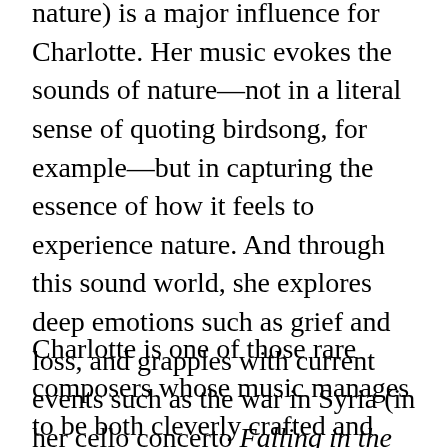nature) is a major influence for Charlotte. Her music evokes the sounds of nature—not in a literal sense of quoting birdsong, for example—but in capturing the essence of how it feels to experience nature. And through this sound world, she explores deep emotions such as grief and loss, and grapples with current events such as the war in Syria (in her cello concerto Falling in the Fire) and climate change (in her orchestral piece Where Icebergs Dance Away).
Charlotte is one of those rare composers whose music manages to be both cleverly crafted and incredibly atmospheric. These